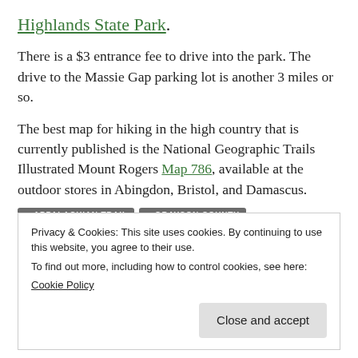Highlands State Park.
There is a $3 entrance fee to drive into the park. The drive to the Massie Gap parking lot is another 3 miles or so.
The best map for hiking in the high country that is currently published is the National Geographic Trails Illustrated Mount Rogers Map 786, available at the outdoor stores in Abingdon, Bristol, and Damascus.
• APPALACHIAN TRAIL  • GRAYSON COUNTY
Privacy & Cookies: This site uses cookies. By continuing to use this website, you agree to their use.
To find out more, including how to control cookies, see here:
Cookie Policy
Close and accept